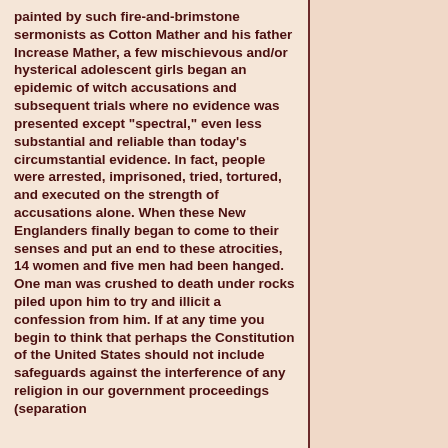painted by such fire-and-brimstone sermonists as Cotton Mather and his father Increase Mather, a few mischievous and/or hysterical adolescent girls began an epidemic of witch accusations and subsequent trials where no evidence was presented except "spectral," even less substantial and reliable than today's circumstantial evidence. In fact, people were arrested, imprisoned, tried, tortured, and executed on the strength of accusations alone. When these New Englanders finally began to come to their senses and put an end to these atrocities, 14 women and five men had been hanged. One man was crushed to death under rocks piled upon him to try and illicit a confession from him. If at any time you begin to think that perhaps the Constitution of the United States should not include safeguards against the interference of any religion in our government proceedings (separation